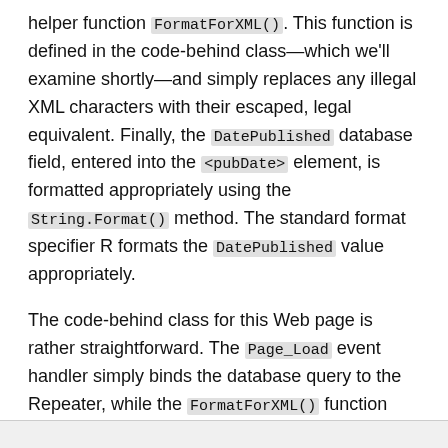helper function FormatForXML(). This function is defined in the code-behind class—which we'll examine shortly—and simply replaces any illegal XML characters with their escaped, legal equivalent. Finally, the DatePublished database field, entered into the <pubDate> element, is formatted appropriately using the String.Format() method. The standard format specifier R formats the DatePublished value appropriately.
The code-behind class for this Web page is rather straightforward. The Page_Load event handler simply binds the database query to the Repeater, while the FormatForXML() function does a few simple string replacements, if needed. For brevity, only the Page_Load event handler and FormatForXML() function are shown from the code-behind class:
[Figure (screenshot): Bottom portion of a code box / code listing area (gray background), partially visible at the bottom of the page.]